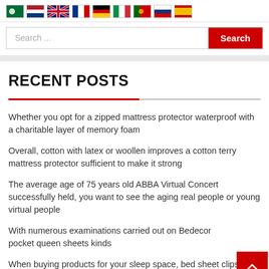[Figure (other): Row of country flag icons: Arabic/Saudi Arabia, Netherlands, UK, France, Germany, Italy, Portugal, Russia, Spain]
Search ...
RECENT POSTS
Whether you opt for a zipped mattress protector waterproof with a charitable layer of memory foam
Overall, cotton with latex or woollen improves a cotton terry mattress protector sufficient to make it strong
The average age of 75 years old ABBA Virtual Concert successfully held, you want to see the aging real people or young virtual people
With numerous examinations carried out on Bedecor pocket queen sheets kinds
When buying products for your sleep space, bed sheet clips